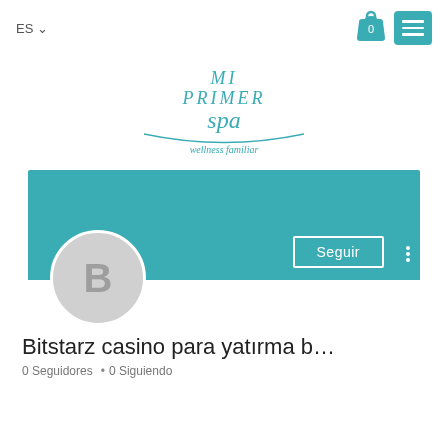[Figure (screenshot): Navigation bar with ES language selector, shopping bag icon with 0, and teal menu button with three horizontal lines]
[Figure (logo): Mi Primer Spa wellness familiar logo in teal handwritten script style]
[Figure (screenshot): Social profile banner in teal with Seguir (Follow) button and three-dot menu, with circular avatar showing letter B]
Bitstarz casino para yatırma b…
0 Seguidores • 0 Siguiendo